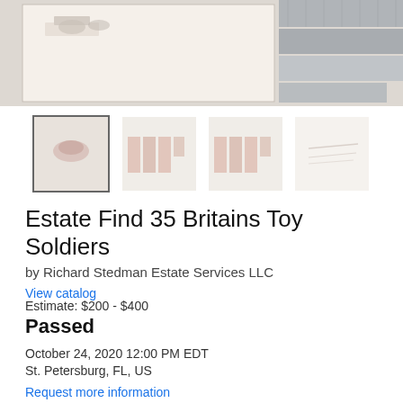[Figure (photo): Main product photo showing toy soldiers items in a display tray and metal tool at top]
[Figure (photo): Row of four thumbnail images of the lot: selected thumbnail with border, and three smaller faded thumbnails]
Estate Find 35 Britains Toy Soldiers
by Richard Stedman Estate Services LLC
View catalog
Estimate: $200 - $400
Passed
October 24, 2020 12:00 PM EDT
St. Petersburg, FL, US
Request more information